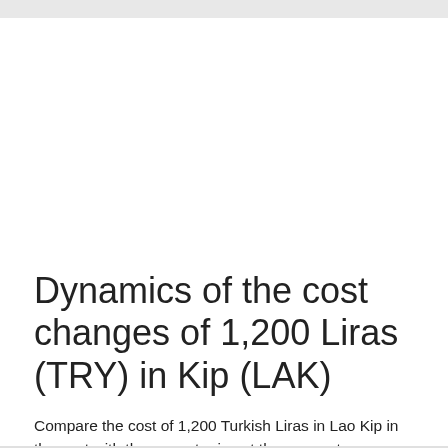Dynamics of the cost changes of 1,200 Liras (TRY) in Kip (LAK)
Compare the cost of 1,200 Turkish Liras in Lao Kip in the past with the current price at the moment.